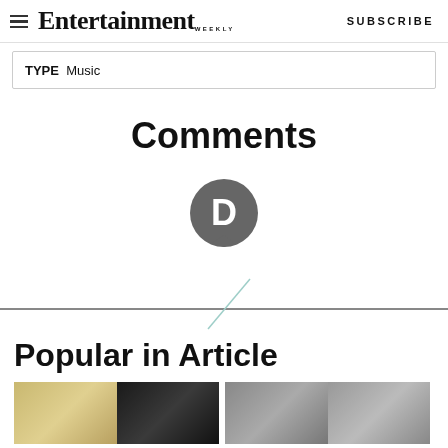Entertainment Weekly  SUBSCRIBE
TYPE  Music
Comments
[Figure (logo): Disqus comment system logo: circular dark grey speech bubble with letter D]
Popular in Article
[Figure (photo): Two thumbnail images side by side showing people, partially cropped at bottom of page]